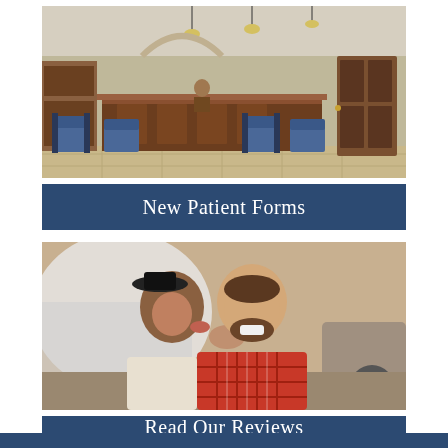[Figure (photo): Interior photo of a medical/dental office reception area with wooden front desk, blue waiting chairs, tiled floor, and warm lighting]
New Patient Forms
[Figure (photo): Photo of a smiling couple, a man in a red plaid shirt laughing while a woman in a hat whispers in his ear, leaning against a white vehicle]
Read Our Reviews